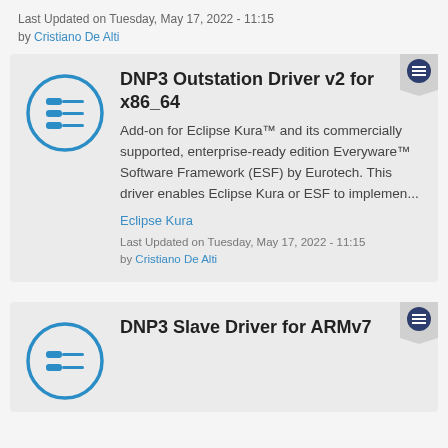Last Updated on Tuesday, May 17, 2022 - 11:15
by Cristiano De Alti
[Figure (logo): Blue circle icon with three horizontal connector/plug symbols inside, representing a driver or hardware interface]
DNP3 Outstation Driver v2 for x86_64
Add-on for Eclipse Kura™ and its commercially supported, enterprise-ready edition Everyware™ Software Framework (ESF) by Eurotech. This driver enables Eclipse Kura or ESF to implemen...
Eclipse Kura
Last Updated on Tuesday, May 17, 2022 - 11:15
by Cristiano De Alti
[Figure (logo): Blue circle icon with two horizontal connector/plug symbols inside, representing a driver or hardware interface]
DNP3 Slave Driver for ARMv7